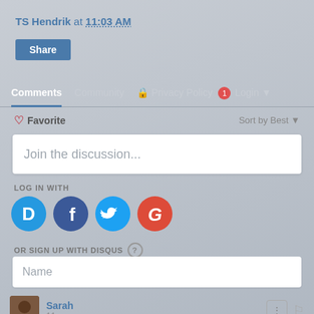TS Hendrik at 11:03 AM
Share
Comments  Community  Privacy Policy  1  Login
Favorite  Sort by Best
Join the discussion...
LOG IN WITH
[Figure (infographic): Four social login icons: Disqus (D, blue circle), Facebook (f, dark blue circle), Twitter (bird, light blue circle), Google (G, red circle)]
OR SIGN UP WITH DISQUS ?
Name
Sarah
11 years ago